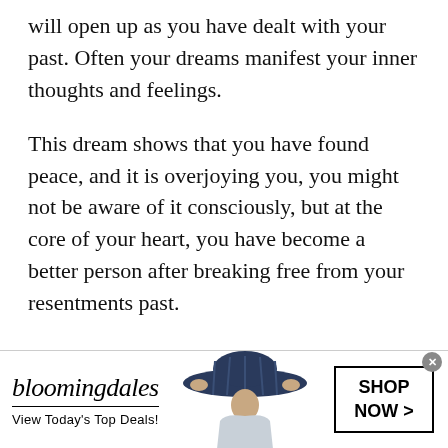will open up as you have dealt with your past. Often your dreams manifest your inner thoughts and feelings.
This dream shows that you have found peace, and it is overjoying you, you might not be aware of it consciously, but at the core of your heart, you have become a better person after breaking free from your resentments past.
It can also mean that something was troubling you for a long time, an emotional issue perhaps that you have finally resolved, and the clarity is
[Figure (infographic): Bloomingdale's advertisement banner with logo, tagline 'View Today's Top Deals!', image of woman with wide-brim hat, and 'SHOP NOW >' button]